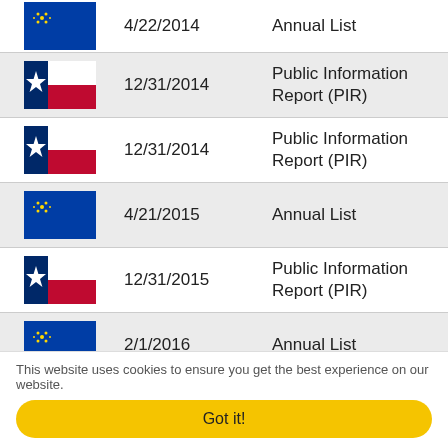| State | Date | Document Type |
| --- | --- | --- |
| Nevada | 4/22/2014 | Annual List |
| Texas | 12/31/2014 | Public Information Report (PIR) |
| Texas | 12/31/2014 | Public Information Report (PIR) |
| Nevada | 4/21/2015 | Annual List |
| Texas | 12/31/2015 | Public Information Report (PIR) |
| Nevada | 2/1/2016 | Annual List |
| Texas | 12/31/2016 | Public Information... |
This website uses cookies to ensure you get the best experience on our website.
Got it!